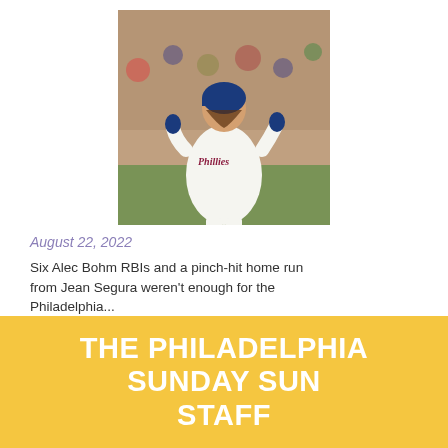[Figure (photo): Phillies baseball player in white uniform with 'Phillies' script, running on field, wearing blue batting gloves and helmet, crowd in background]
August 22, 2022
Six Alec Bohm RBIs and a pinch-hit home run from Jean Segura weren't enough for the Philadelphia...
[Figure (infographic): Advertisement banner: dark blue background with text 'THERE'S A PROTECTOR IN EACH OF US.' with circular badge reading 'BEAT COVID-19' and Independence Blue Cross logo]
THE PHILADELPHIA SUNDAY SUN STAFF